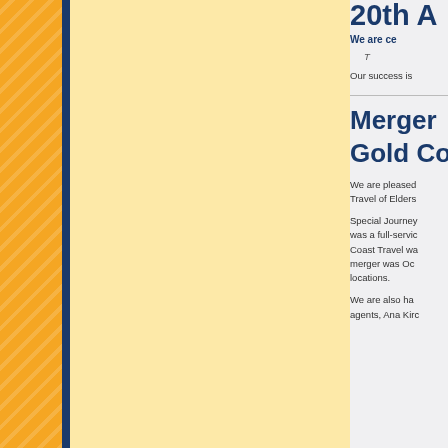20th An
We are ce
T
Our success is
Merger Gold Co
We are pleased Travel of Elders
Special Journey was a full-service Coast Travel wa merger was Oc locations.
We are also ha agents, Ana Kirc